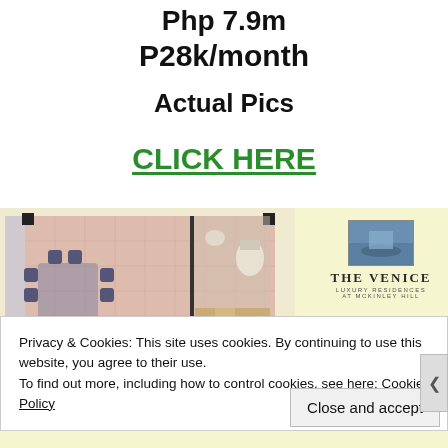Php 7.9m
P28k/month
Actual Pics
CLICK HERE
[Figure (illustration): Floor plan of a studio/1BR unit at The Venice Luxury Residences, showing dining area with chairs, kitchen, bathroom, and living space on a beige/pink tiled background. The Venice logo with a scenic photo is shown to the right.]
Privacy & Cookies: This site uses cookies. By continuing to use this website, you agree to their use.
To find out more, including how to control cookies, see here: Cookie Policy
Close and accept